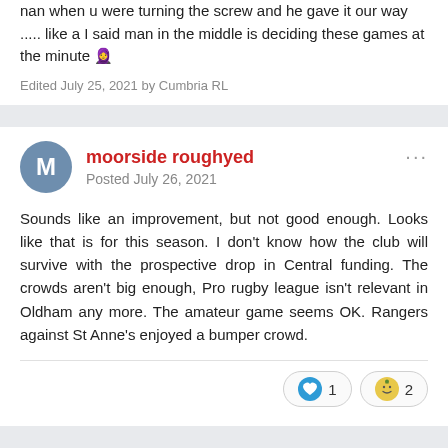nan when u were turning the screw and he gave it our way ..... like a I said man in the middle is deciding these games at the minute 🧕
Edited July 25, 2021 by Cumbria RL
moorside roughyed
Posted July 26, 2021
Sounds like an improvement, but not good enough. Looks like that is for this season. I don't know how the club will survive with the prospective drop in Central funding. The crowds aren't big enough, Pro rugby league isn't relevant in Oldham any more. The amateur game seems OK. Rangers against St Anne's enjoyed a bumper crowd.
[Figure (infographic): Reaction badges: heart icon with count 1, and a smiley-face emoji badge with count 2]